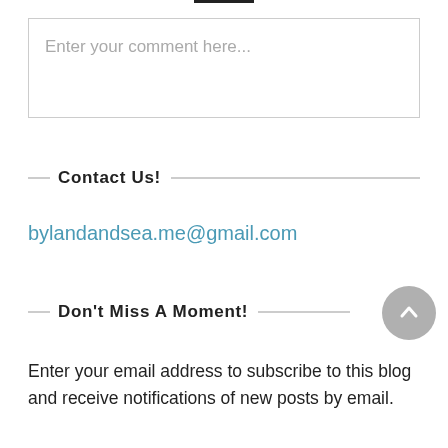[Figure (other): Horizontal black bar/divider at top of page]
Enter your comment here...
Contact Us!
bylandandsea.me@gmail.com
Don't Miss A Moment!
[Figure (other): Back to top circular button with upward chevron arrow]
Enter your email address to subscribe to this blog and receive notifications of new posts by email.